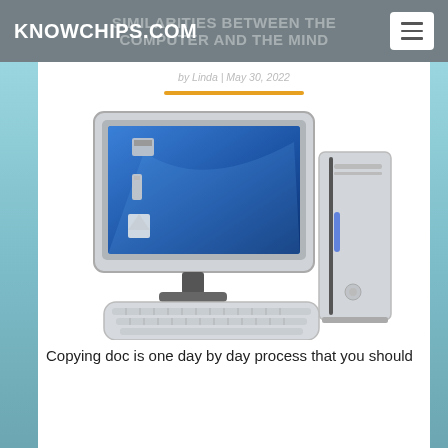KNOWCHIPS.COM
SIMILARITIES BETWEEN THE COMPUTER AND THE MIND
by Linda | May 30, 2022
[Figure (illustration): Clip-art style illustration of a desktop computer setup: monitor showing blue Windows-style desktop with icons, tower PC case, and keyboard in front.]
Copying doc is one day by day process that you should